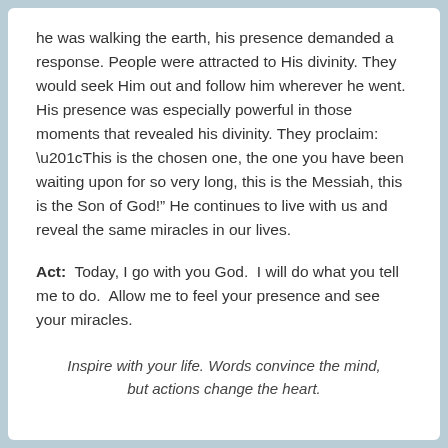he was walking the earth, his presence demanded a response. People were attracted to His divinity. They would seek Him out and follow him wherever he went.  His presence was especially powerful in those moments that revealed his divinity. They proclaim: “This is the chosen one, the one you have been waiting upon for so very long, this is the Messiah, this is the Son of God!” He continues to live with us and reveal the same miracles in our lives.
Act:  Today, I go with you God.  I will do what you tell me to do.  Allow me to feel your presence and see your miracles.
Inspire with your life. Words convince the mind, but actions change the heart.